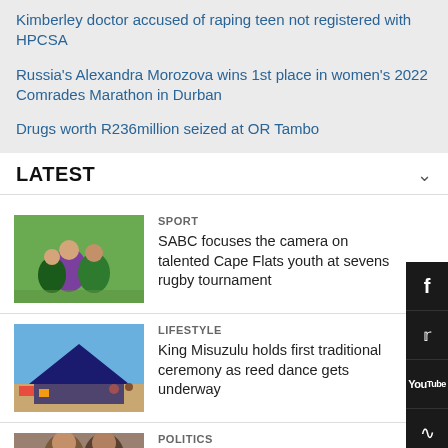Kimberley doctor accused of raping teen not registered with HPCSA
Russia's Alexandra Morozova wins 1st place in women's 2022 Comrades Marathon in Durban
Drugs worth R236million seized at OR Tambo
LATEST
[Figure (photo): Rugby players in action on a field]
SPORT
SABC focuses the camera on talented Cape Flats youth at sevens rugby tournament
[Figure (photo): Outdoor market scene with tents and people]
LIFESTYLE
King Misuzulu holds first traditional ceremony as reed dance gets underway
[Figure (photo): Partial image of people]
POLITICS